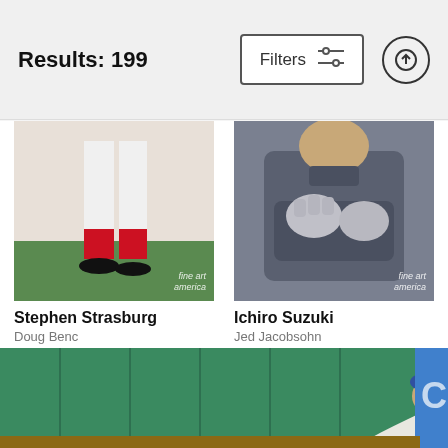Results: 199
Filters
[Figure (photo): Stephen Strasburg baseball player legs in uniform with red socks, fine art america watermark]
Stephen Strasburg
Doug Benc
$9.62
[Figure (photo): Ichiro Suzuki baseball player in grey jacket with gloves, fine art america watermark]
Ichiro Suzuki
Jed Jacobsohn
$9.62
[Figure (photo): Baseball outfielder making a diving catch in front of green wall with blue advertisement, partially visible]